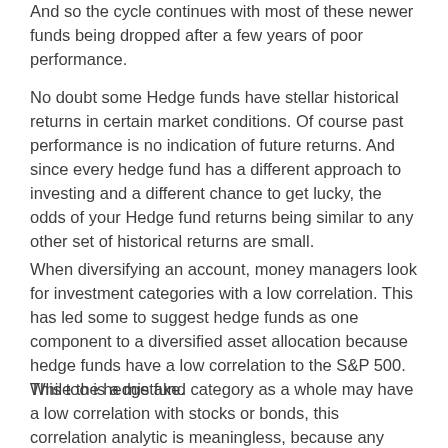And so the cycle continues with most of these newer funds being dropped after a few years of poor performance.
No doubt some Hedge funds have stellar historical returns in certain market conditions. Of course past performance is no indication of future returns. And since every hedge fund has a different approach to investing and a different chance to get lucky, the odds of your Hedge fund returns being similar to any other set of historical returns are small.
When diversifying an account, money managers look for investment categories with a low correlation. This has led some to suggest hedge funds as one component to a diversified asset allocation because hedge funds have a low correlation to the S&P 500. This too is a mistake.
While the hedge fund category as a whole may have a low correlation with stocks or bonds, this correlation analytic is meaningless, because any individual hedge fund probably will not have the same type of correlation.